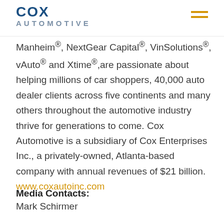Cox Automotive
Manheim®, NextGear Capital®, VinSolutions®, vAuto® and Xtime®,are passionate about helping millions of car shoppers, 40,000 auto dealer clients across five continents and many others throughout the automotive industry thrive for generations to come. Cox Automotive is a subsidiary of Cox Enterprises Inc., a privately-owned, Atlanta-based company with annual revenues of $21 billion. www.coxautoinc.com
Media Contacts:
Mark Schirmer